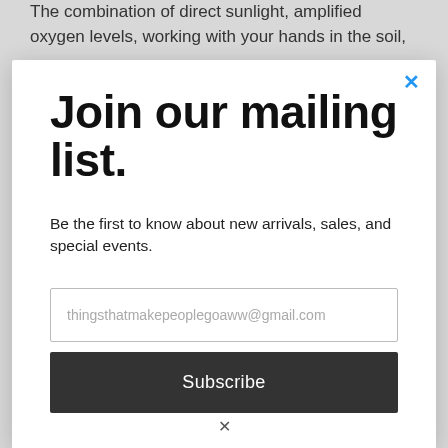The combination of direct sunlight, amplified oxygen levels, working with your hands in the soil,
Join our mailing list.
Be the first to know about new arrivals, sales, and special events.
thingsthatmakepeoplegoaww@gmail.com
Subscribe